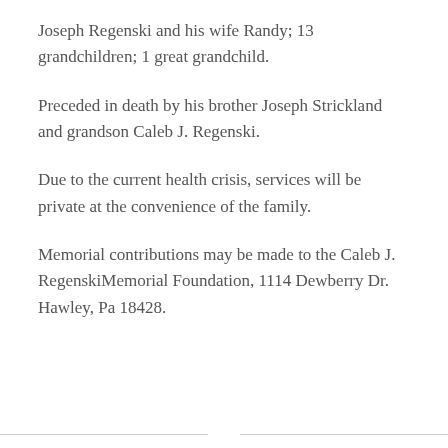Joseph Regenski and his wife Randy; 13 grandchildren; 1 great grandchild.
Preceded in death by his brother Joseph Strickland and grandson Caleb J. Regenski.
Due to the current health crisis, services will be private at the convenience of the family.
Memorial contributions may be made to the Caleb J. RegenskiMemorial Foundation, 1114 Dewberry Dr. Hawley, Pa 18428.